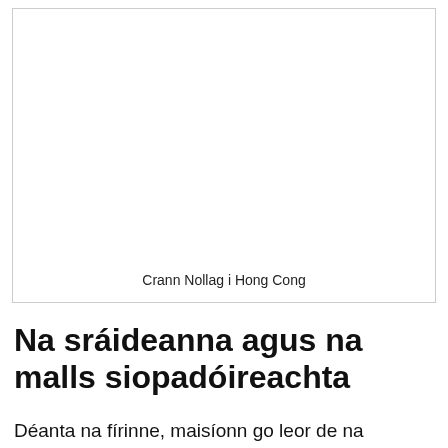[Figure (photo): A photograph of a Christmas tree in Hong Kong (image area is blank/white in this rendering)]
Crann Nollag i Hong Cong
Na sráideanna agus na malls siopadóireachta
Déanta na fírinne, maisíonn go leor de na cathracha